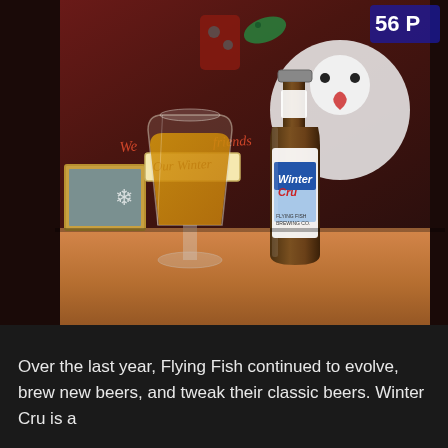[Figure (photo): A beer glass filled with amber/golden beer next to a bottle of Flying Fish Winter Cru beer, placed on a wooden table surface with Christmas holiday decorations in the background including signs reading 'we', 'friends', 'Our Winter', ornaments, and a snowman decoration.]
Over the last year, Flying Fish continued to evolve, brew new beers, and tweak their classic beers. Winter Cru is a